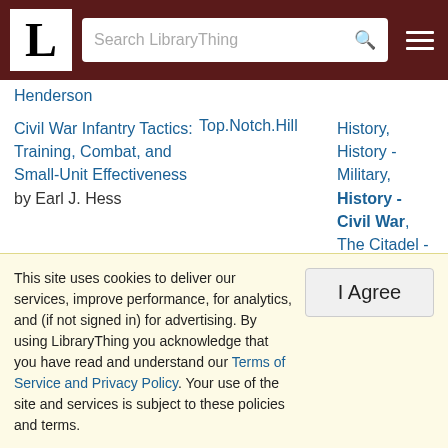LibraryThing header with logo, search bar, and menu
Henderson
| Title | User | Tags |
| --- | --- | --- |
| Civil War Infantry Tactics: Training, Combat, and Small-Unit Effectiveness by Earl J. Hess | Top.Notch.Hill | History, History - Military, History - Civil War, The Citadel - MLTH-500, Textbook - The Citadel |
| Black Reconstruction in America by W. E. B. Dubois | FlavivsJvli | Marxism, Sociology, Sociology: Racism, Sociology: African American, History: |
This site uses cookies to deliver our services, improve performance, for analytics, and (if not signed in) for advertising. By using LibraryThing you acknowledge that you have read and understand our Terms of Service and Privacy Policy. Your use of the site and services is subject to these policies and terms.